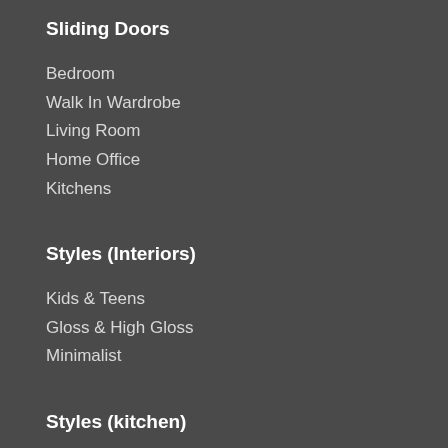Sliding Doors
Bedroom
Walk In Wardrobe
Living Room
Home Office
Kitchens
Styles (Interiors)
Kids & Teens
Gloss & High Gloss
Minimalist
Styles (kitchen)
Classic
Traditional
Contemporary